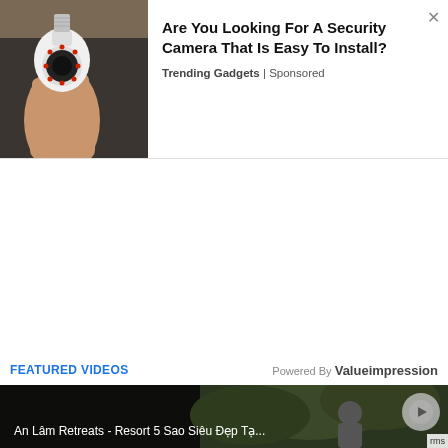[Figure (photo): Advertisement banner with photo of a hand holding a light-bulb shaped security camera]
Are You Looking For A Security Camera That Is Easy To Install?
Trending Gadgets | Sponsored
FEATURED VIDEOS
Powered By Valueimpression
[Figure (screenshot): Video thumbnail with dark outdoor scene, text: An Lâm Retreats - Resort 5 Sao Siêu Đẹp Tạ...]